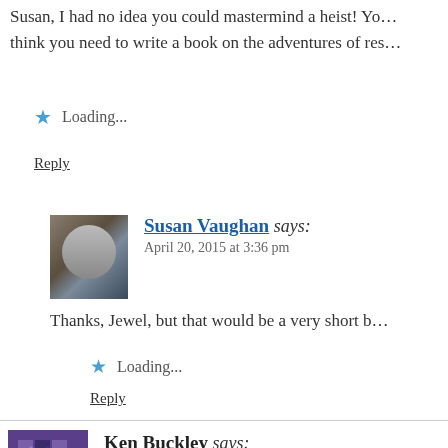Susan, I had no idea you could mastermind a heist! You think you need to write a book on the adventures of res…
Loading...
Reply
Susan Vaughan says: April 20, 2015 at 3:36 pm
Thanks, Jewel, but that would be a very short b…
Loading...
Reply
Ken Buckley says: April 20, 2015 at 8:31 am
Reminded me of my reporting days when all hell break…